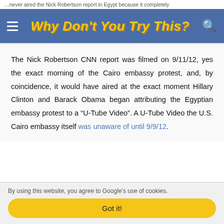…never aired the Nick Robertson report in Egypt because it completely
Why Don't You Try This?
The Nick Robertson CNN report was filmed on 9/11/12, yes the exact morning of the Cairo embassy protest, and, by coincidence, it would have aired at the exact moment Hillary Clinton and Barack Obama began attributing the Egyptian embassy protest to a “U-Tube Video”. A U-Tube Video the U.S. Cairo embassy itself was unaware of until 9/9/12.
By using this website, you agree to Google’s use of cookies.
Got it!